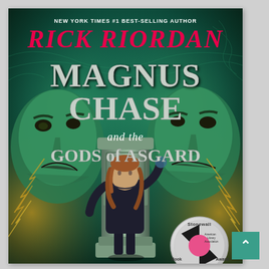[Figure (illustration): Book cover of 'Magnus Chase and the Gods of Asgard' by Rick Riordan. The cover features a dark teal/green background with swirling mist. Two large menacing face figures flank the sides (Norse gods). In the center is a stone monument/column with Celtic knotwork. A teenage boy with long hair stands in front of it in a dark jacket. At the top the text reads 'NEW YORK TIMES #1 BEST-SELLING AUTHOR' and 'RICK RIORDAN' in pink/magenta. The title 'MAGNUS CHASE and the GODS OF ASGARD' is in large stylized silver/white lettering. A Stonewall Book Award medal is in the lower right, with a pink circle and black triangles on a silver background with 'American Library Association' text.]